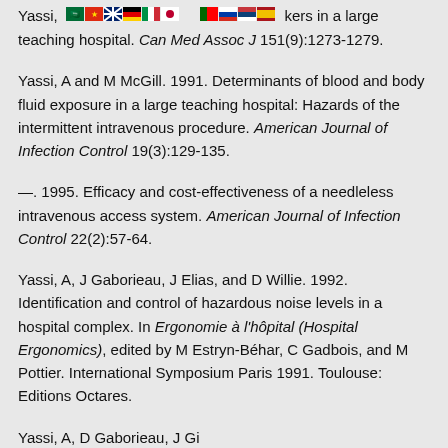Yassi, [flags] kers in a large teaching hospital. Can Med Assoc J 151(9):1273-1279.
Yassi, A and M McGill. 1991. Determinants of blood and body fluid exposure in a large teaching hospital: Hazards of the intermittent intravenous procedure. American Journal of Infection Control 19(3):129-135.
—. 1995. Efficacy and cost-effectiveness of a needleless intravenous access system. American Journal of Infection Control 22(2):57-64.
Yassi, A, J Gaborieau, J Elias, and D Willie. 1992. Identification and control of hazardous noise levels in a hospital complex. In Ergonomie à l'hôpital (Hospital Ergonomics), edited by M Estryn-Béhar, C Gadbois, and M Pottier. International Symposium Paris 1991. Toulouse: Editions Octares.
Yassi, A, D Gaborieau, J Gi...